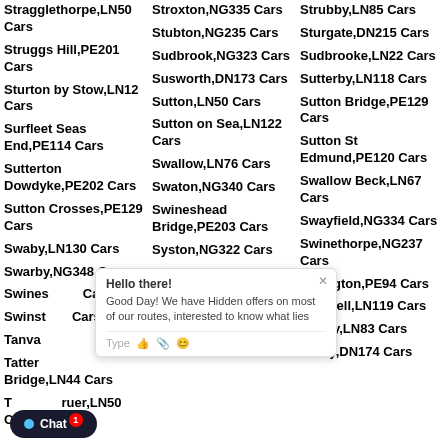Stragglethorpe,LN50 Cars
Stroxton,NG335 Cars
Strubby,LN85 Cars
Struggs Hill,PE201 Cars
Stubton,NG235 Cars
Sturgate,DN215 Cars
Sturton by Stow,LN12 Cars
Sudbrook,NG323 Cars
Sudbrooke,LN22 Cars
Surfleet Seas End,PE114 Cars
Susworth,DN173 Cars
Sutterby,LN118 Cars
Sutterton Dowdyke,PE202 Cars
Sutton,LN50 Cars
Sutton Bridge,PE129 Cars
Sutton Crosses,PE129 Cars
Sutton on Sea,LN122 Cars
Sutton St Edmund,PE120 Cars
Swaby,LN130 Cars
Swallow,LN76 Cars
Swallow Beck,LN67 Cars
Swarby,NG348 Cars
Swaton,NG340 Cars
Swayfield,NG334 Cars
Swineshead Cars
Swineshead Bridge,PE203 Cars
Swinethorpe,NG237 Cars
Swinstead Cars
Syston,NG322 Cars
Tallington,PE94 Cars
Tanvats Cars
Tarry Hill,PE203 Cars
Tathwell,LN119 Cars
Tattershall Bridge,LN44 Cars
Tattershall Thorpe,LN44 Cars
Tealby,LN83 Cars
Temple Bruer,LN50 Cars
Tetford,LN96 Cars
Tetley,DN174 Cars